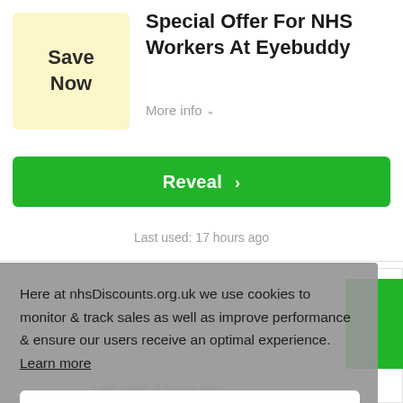[Figure (screenshot): Yellow 'Save Now' box with bold text]
Special Offer For NHS Workers At Eyebuddy
More info ˅
Reveal ›
Last used: 17 hours ago
Here at nhsDiscounts.org.uk we use cookies to monitor & track sales as well as improve performance & ensure our users receive an optimal experience. Learn more
GOT IT!
Last used: 8 hours ago